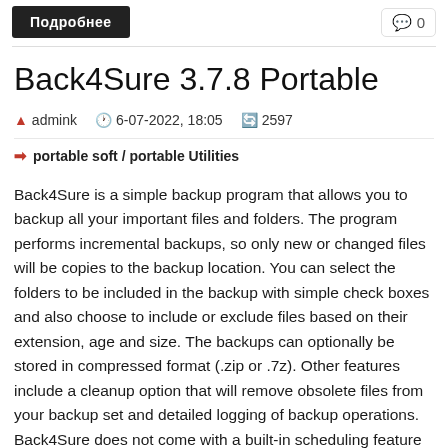Подробнее   0
Back4Sure 3.7.8 Portable
admink   6-07-2022, 18:05   2597
portable soft / portable Utilities
Back4Sure is a simple backup program that allows you to backup all your important files and folders. The program performs incremental backups, so only new or changed files will be copies to the backup location. You can select the folders to be included in the backup with simple check boxes and also choose to include or exclude files based on their extension, age and size. The backups can optionally be stored in compressed format (.zip or .7z). Other features include a cleanup option that will remove obsolete files from your backup set and detailed logging of backup operations. Back4Sure does not come with a built-in scheduling feature but allows you to create shortcuts on the desktop that will automatically run a backup when clicked (or you